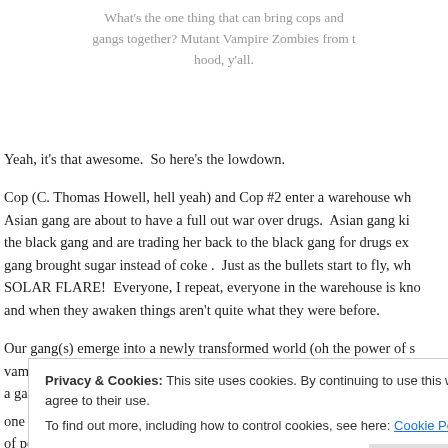What's the one thing that can bring cops and gangs together? Mutant Vampire Zombies from the hood, y'all.
Yeah, it's that awesome.  So here's the lowdown.
Cop (C. Thomas Howell, hell yeah) and Cop #2 enter a warehouse where a black gang and an Asian gang are about to have a full out war over drugs.  Asian gang kidnapped a girl from the black gang and are trading her back to the black gang for drugs except that the black gang brought sugar instead of coke .  Just as the bullets start to fly, wham bam thank you ma'am, SOLAR FLARE!  Everyone, I repeat, everyone in the warehouse is knocked out cold and when they awaken things aren't quite what they were before.
Our gang(s) emerge into a newly transformed world (oh the power of solar flares) filled with vampire(?) zombie(?) mutants.  Things start to quickly go downhill.  First, a gang member gets killed.  One gang member keeps running around...
Privacy & Cookies: This site uses cookies. By continuing to use this website, you agree to their use.
To find out more, including how to control cookies, see here: Cookie Policy
one liners…..*sighs*….he's so groovy.  Next the gang runs into a polite group of people who capture them who are (get this) VAMPIRES!!  Totes!